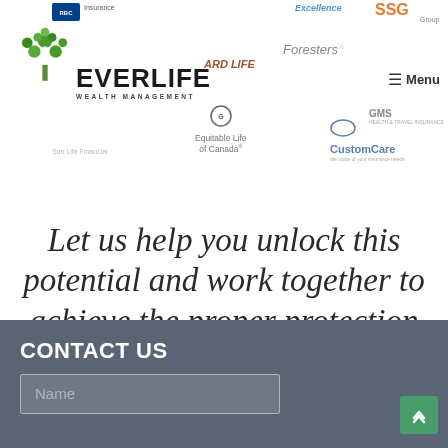[Figure (logo): EverLife Wealth Management logo with green tree icon and partner insurance company logos (BNC Insurance, SSG Group, Foresters, Standard Life, Equitable Life of Canada, CustomCare, Sun Life Financial, and others) in the header region]
Let us help you unlock this potential and work together to achieve the proper protection you and your family deserve.
CONTACT US
Name